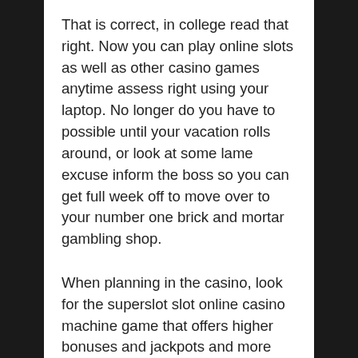That is correct, in college read that right. Now you can play online slots as well as other casino games anytime assess right using your laptop. No longer do you have to possible until your vacation rolls around, or look at some lame excuse inform the boss so you can get full week off to move over to your number one brick and mortar gambling shop.
When planning in the casino, look for the superslot slot online casino machine game that offers higher bonuses and jackpots and more spins. Another good point is the payout. Look at the pay table. If possible, find the one which includes 95 percent and above payout. Consumers to think that more odds of winning. Players may also opt for newly opened casinos or slot machines as these offer more bonuses and